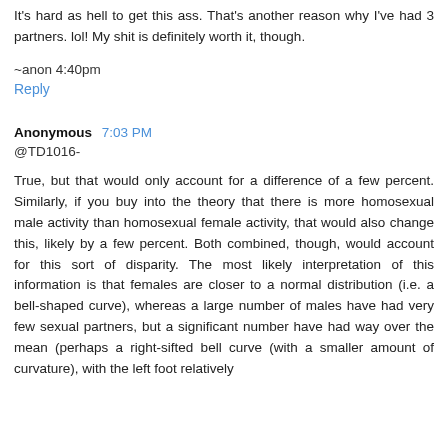It's hard as hell to get this ass. That's another reason why I've had 3 partners. lol! My shit is definitely worth it, though.
~anon 4:40pm
Reply
Anonymous  7:03 PM
@TD1016-
True, but that would only account for a difference of a few percent. Similarly, if you buy into the theory that there is more homosexual male activity than homosexual female activity, that would also change this, likely by a few percent. Both combined, though, would account for this sort of disparity. The most likely interpretation of this information is that females are closer to a normal distribution (i.e. a bell-shaped curve), whereas a large number of males have had very few sexual partners, but a significant number have had way over the mean (perhaps a right-sifted bell curve (with a smaller amount of curvature), with the left foot relatively